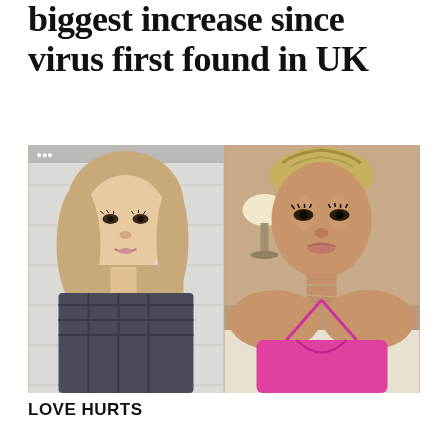biggest increase since virus first found in UK
[Figure (photo): Two photos side by side: left shows a young woman with long blonde wavy hair speaking to camera (screenshot from social media video); right shows a glamorous blonde woman in a pink top in a hotel room setting.]
LOVE HURTS